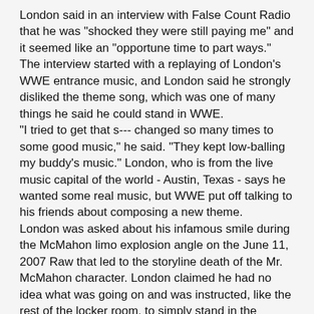London said in an interview with False Count Radio that he was "shocked they were still paying me" and it seemed like an "opportune time to part ways."
The interview started with a replaying of London's WWE entrance music, and London said he strongly disliked the theme song, which was one of many things he said he could stand in WWE.
"I tried to get that s--- changed so many times to some good music," he said. "They kept low-balling my buddy's music." London, who is from the live music capital of the world - Austin, Texas - says he wanted some real music, but WWE put off talking to his friends about composing a new theme.
London was asked about his infamous smile during the McMahon limo explosion angle on the June 11, 2007 Raw that led to the storyline death of the Mr. McMahon character. London claimed he had no idea what was going on and was instructed, like the rest of the locker room, to simply stand in the hallway and pretend to be befuddled.
"I had no clue what was going on. I had no idea this guy was going to his 'destruction' or 'demise,'" London said. He says they were told just to react to Vince when he came